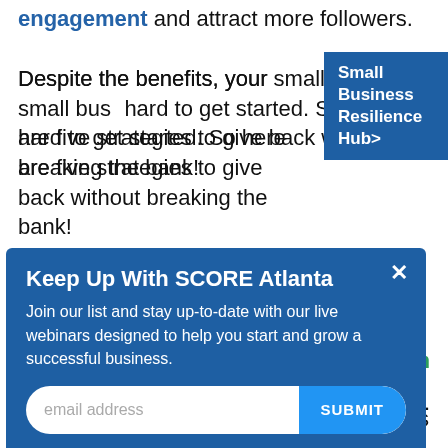engagement and attract more followers.
Despite the benefits, your small business may find it hard to get started. So here are five strategies to give back without breaking the bank!
[Figure (screenshot): Blue button sidebar link reading 'Small Business Resilience Hub>']
[Figure (screenshot): Modal popup with blue background titled 'Keep Up With SCORE Atlanta' with email subscribe form containing email address input and SUBMIT button]
To get started, encourage your employees to participate in events, make small donations, and share the cause with their network and friends. Later on, you can work together to get involved in non-profit